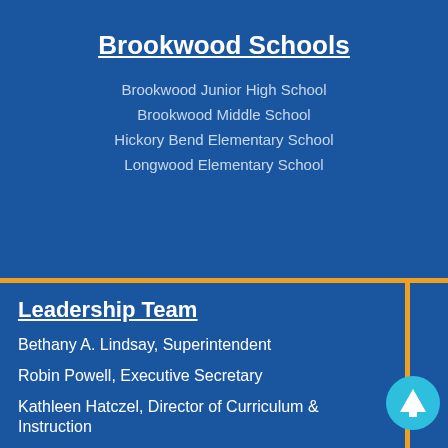Brookwood Schools
Brookwood Junior High School
Brookwood Middle School
Hickory Bend Elementary School
Longwood Elementary School
Leadership Team
Bethany A. Lindsay, Superintendent
Robin Powell, Executive Secretary
Kathleen Hatczel, Director of Curriculum & Instruction